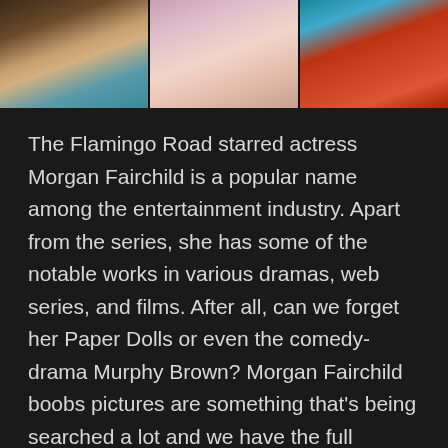[Figure (photo): Three photos of actress Morgan Fairchild shown side by side in a horizontal strip at the top of the page. Left photo shows her in a leopard print outfit with teal background, center shows her in a light lacy outfit with pink background, right shows her in an orange/red dress with teal background.]
The Flamingo Road starred actress Morgan Fairchild is a popular name among the entertainment industry. Apart from the series, she has some of the notable works in various dramas, web series, and films. After all, can we forget her Paper Dolls or even the comedy-drama Murphy Brown? Morgan Fairchild boobs pictures are something that's being searched a lot and we have the full collection of it below.
Morgan Fairchild was born on 16th September 1950, in Texas, the U.S. Her mother was a school